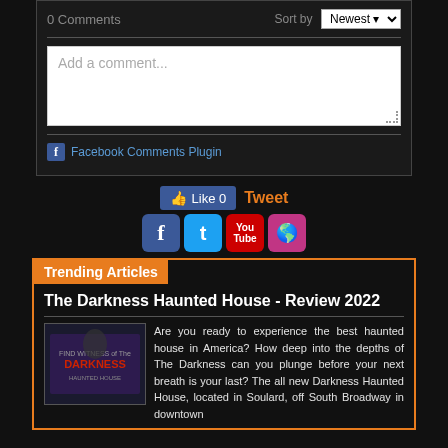0 Comments
Sort by Newest
Add a comment...
Facebook Comments Plugin
[Figure (other): Social media buttons: Like 0 (Facebook), Tweet, and social media icons for Facebook, Twitter, YouTube, Instagram]
Trending Articles
The Darkness Haunted House - Review 2022
[Figure (photo): Photo of The Darkness haunted house promotional image]
Are you ready to experience the best haunted house in America? How deep into the depths of The Darkness can you plunge before your next breath is your last? The all new Darkness Haunted House, located in Soulard, off South Broadway in downtown